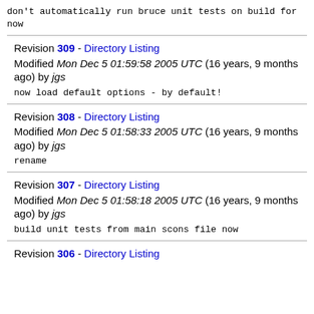don't automatically run bruce unit tests on build for now
Revision 309 - Directory Listing
Modified Mon Dec 5 01:59:58 2005 UTC (16 years, 9 months ago) by jgs
now load default options - by default!
Revision 308 - Directory Listing
Modified Mon Dec 5 01:58:33 2005 UTC (16 years, 9 months ago) by jgs
rename
Revision 307 - Directory Listing
Modified Mon Dec 5 01:58:18 2005 UTC (16 years, 9 months ago) by jgs
build unit tests from main scons file now
Revision 306 - Directory Listing